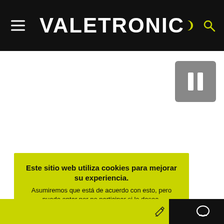VALETRONIC
[Figure (screenshot): Pause button icon (two vertical white bars on grey rounded square background)]
Este sitio web utiliza cookies para mejorar su experiencia. Asumiremos que está de acuerdo con esto, pero puede optar por no participar si lo desea. Acepto  Leer más